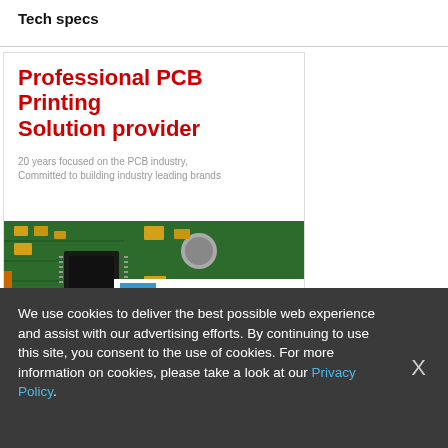Tech specs
[Figure (photo): Advertisement for Hua Feng Circuit, a professional PCB printing solution provider. Shows bold red text 'Professional PCB Printing Solution provider', subtitle '20 years focused on the PCB industry, Committed to building industry leading brands', a photo of a green PCB board with electronic components, and the Hua Feng Circuit logo with Chinese characters 华丰电路.]
We use cookies to deliver the best possible web experience and assist with our advertising efforts. By continuing to use this site, you consent to the use of cookies. For more information on cookies, please take a look at our Privacy Policy.